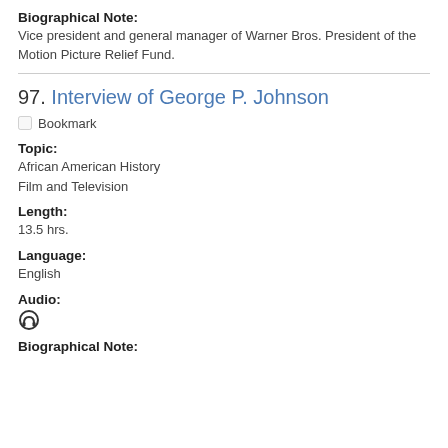Biographical Note:
Vice president and general manager of Warner Bros. President of the Motion Picture Relief Fund.
97. Interview of George P. Johnson
Bookmark
Topic:
African American History
Film and Television
Length:
13.5 hrs.
Language:
English
Audio:
Biographical Note: